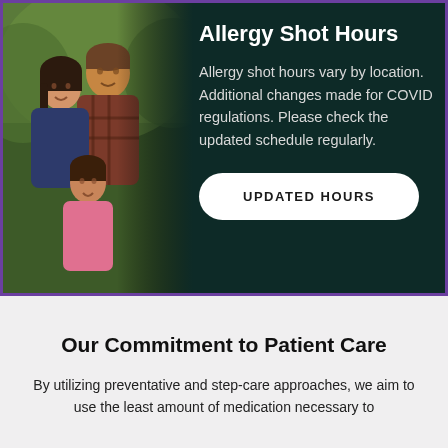[Figure (photo): Family of three smiling outdoors — a woman, a man, and a young girl in a pink sweater, posed together against a natural green background]
Allergy Shot Hours
Allergy shot hours vary by location. Additional changes made for COVID regulations. Please check the updated schedule regularly.
UPDATED HOURS
Our Commitment to Patient Care
By utilizing preventative and step-care approaches, we aim to use the least amount of medication necessary to